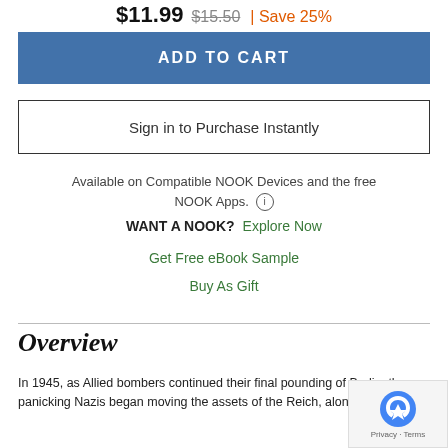$11.99 $15.50 | Save 25%
ADD TO CART
Sign in to Purchase Instantly
Available on Compatible NOOK Devices and the free NOOK Apps.
WANT A NOOK? Explore Now
Get Free eBook Sample
Buy As Gift
Overview
In 1945, as Allied bombers continued their final pounding of Berlin, the panicking Nazis began moving the assets of the Reich, along the fronts of invasion. Most strikingly found...